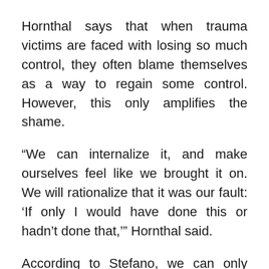Hornthal says that when trauma victims are faced with losing so much control, they often blame themselves as a way to regain some control. However, this only amplifies the shame.
“We can internalize it, and make ourselves feel like we brought it on. We will rationalize that it was our fault: ‘If only I would have done this or hadn’t done that,’” Hornthal said.
According to Stefano, we can only counteract this shame by finding a voice for those feelings.
“By talking about it, you take away the shame,” she said. “Secrets don’t help you heal. It’s only by